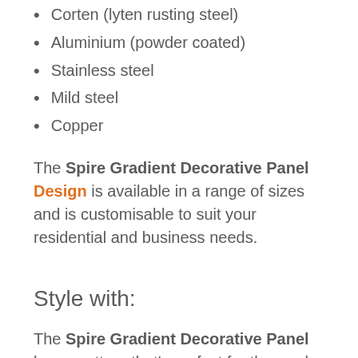Corten (lyten rusting steel)
Aluminium (powder coated)
Stainless steel
Mild steel
Copper
The Spire Gradient Decorative Panel Design is available in a range of sizes and is customisable to suit your residential and business needs.
Style with:
The Spire Gradient Decorative Panel has a pattern that’s perfect for those who are all about shape and flow. This design gradually changes size and form, the pattern creates a detailed and modern ti